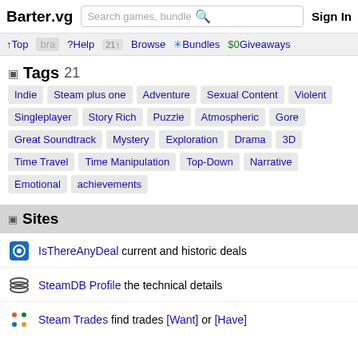Barter.vg  Search games, bundles  Sign In
↑Top  ?Help  21↑Browse  *Bundles  $0Giveaways
Tags 21
Indie
Steam plus one
Adventure
Sexual Content
Violent
Singleplayer
Story Rich
Puzzle
Atmospheric
Gore
Great Soundtrack
Mystery
Exploration
Drama
3D
Time Travel
Time Manipulation
Top-Down
Narrative
Emotional
achievements
Sites
IsThereAnyDeal current and historic deals
SteamDB Profile the technical details
Steam Trades find trades [Want] or [Have]